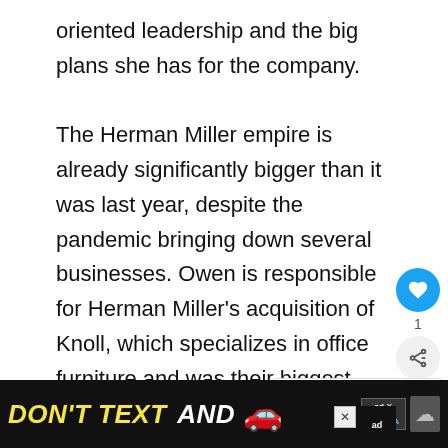oriented leadership and the big plans she has for the company.

The Herman Miller empire is already significantly bigger than it was last year, despite the pandemic bringing down several businesses. Owen is responsible for Herman Miller's acquisition of Knoll, which specializes in office furniture and was their biggest competitor.
[Figure (screenshot): Advertisement banner at the bottom with 'DON'T TEXT AND' text, car emoji, NHTSA logo on a black background]
ADVERTISEMENT